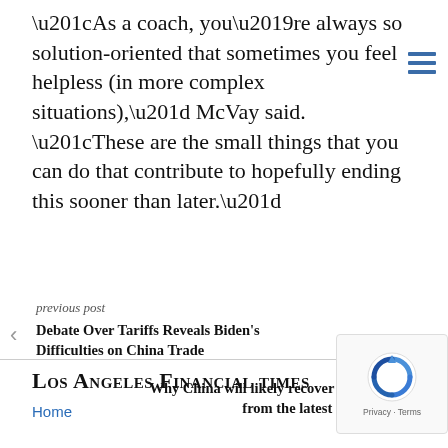“As a coach, you’re always so solution-oriented that sometimes you feel helpless (in more complex situations),” McVay said. “These are the small things that you can do that contribute to hopefully ending this sooner than later.”
previous post
Debate Over Tariffs Reveals Biden’s Difficulties on China Trade
next post
Why China will likely recover more slowly from the latest Covid shock
Los Angeles Financial times
Home